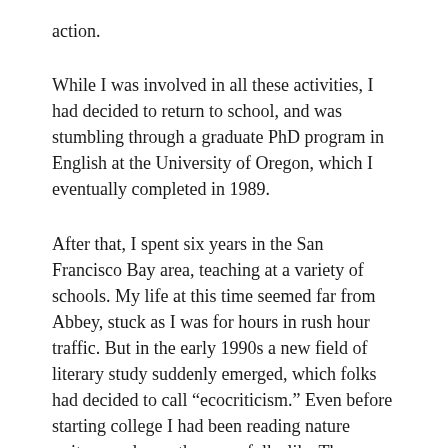action.
While I was involved in all these activities, I had decided to return to school, and was stumbling through a graduate PhD program in English at the University of Oregon, which I eventually completed in 1989.
After that, I spent six years in the San Francisco Bay area, teaching at a variety of schools. My life at this time seemed far from Abbey, stuck as I was for hours in rush hour traffic. But in the early 1990s a new field of literary study suddenly emerged, which folks had decided to call “ecocriticism.” Even before starting college I had been reading nature writers, and over the years folks like Thoreau, Sigurd Olson, Henry Beston, Annie Dillard, Barry Lopez, Gary Snyder had become important to me. Yet, except for Thoreau, none of these writers was being studied in a serious academic way. But why couldn’t they be? Yes, I realized, I was an ecocritic, I had found my tribe. And, best of all, maybe I actually could